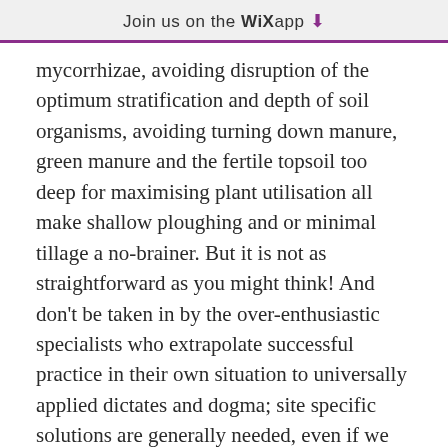Join us on the WiX app ⬇
mycorrhizae, avoiding disruption of the optimum stratification and depth of soil organisms, avoiding turning down manure, green manure and the fertile topsoil too deep for maximising plant utilisation all make shallow ploughing and or minimal tillage a no-brainer. But it is not as straightforward as you might think! And don't be taken in by the over-enthusiastic specialists who extrapolate successful practice in their own situation to universally applied dictates and dogma; site specific solutions are generally needed, even if we are working to common principles underlying a